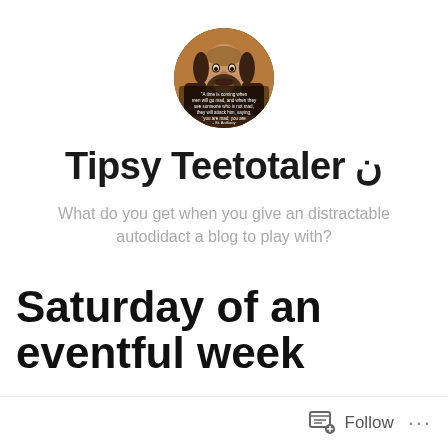[Figure (photo): Circular avatar image showing a medieval/Byzantine style portrait of a bearded man with text overlay quoting St. Anthony about a time coming when men will go mad]
Tipsy Teetotaler ن
What do you get when you give an distractable autodidact a blog to play with?
Saturday of an eventful week
Follow ...